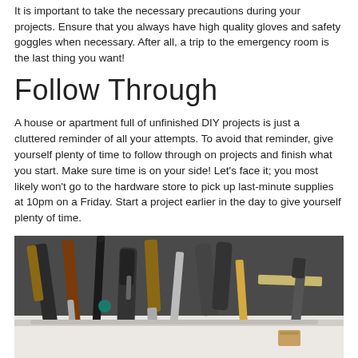It is important to take the necessary precautions during your projects. Ensure that you always have high quality gloves and safety goggles when necessary. After all, a trip to the emergency room is the last thing you want!
Follow Through
A house or apartment full of unfinished DIY projects is just a cluttered reminder of all your attempts. To avoid that reminder, give yourself plenty of time to follow through on projects and finish what you start. Make sure time is on your side! Let's face it; you most likely won't go to the hardware store to pick up last-minute supplies at 10pm on a Friday. Start a project earlier in the day to give yourself plenty of time.
[Figure (photo): Photo of various tools including pliers, screwdrivers, chisels, and other hand tools laid out on a white surface]